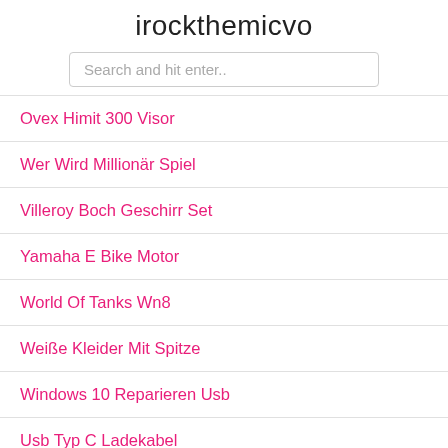irockthemicvo
Search and hit enter..
Ovex Himit 300 Visor
Wer Wird Millionär Spiel
Villeroy Boch Geschirr Set
Yamaha E Bike Motor
World Of Tanks Wn8
Weiße Kleider Mit Spitze
Windows 10 Reparieren Usb
Usb Typ C Ladekabel
Wir In Bayern Heute
Urlaub Mit Hund Holland Zeeland